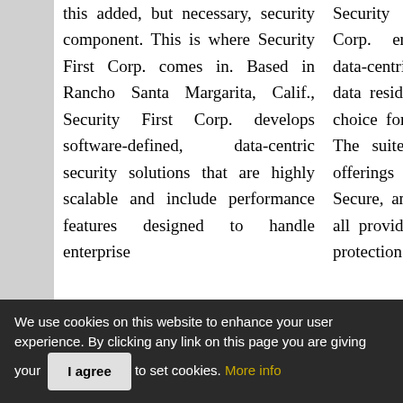this added, but necessary, security component. This is where Security First Corp. comes in. Based in Rancho Santa Margarita, Calif., Security First Corp. develops software-defined, data-centric security solutions that are highly scalable and include performance features designed to handle enterprise
Security Suite by Security First Corp. enables software-defined, data-centric protection anywhere the data resides, making it an optimal choice for enterprise data security. The suite has three server-based offerings — Secure, Advanced Secure, and Advanced Multi-site— all providing provably secure data protection with
We use cookies on this website to enhance your user experience. By clicking any link on this page you are giving your consent to set cookies. More info